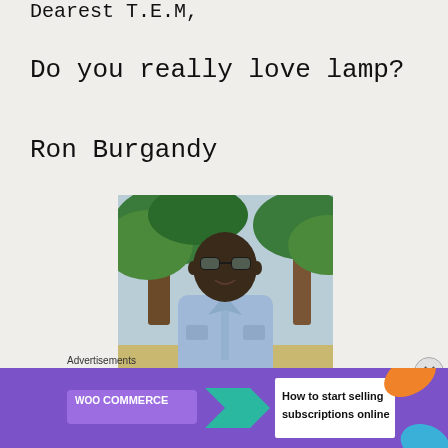Dearest T.E.M,
Do you really love lamp?
Ron Burgandy
[Figure (photo): Man wearing aviator sunglasses and a light blue shirt, standing outdoors with palm trees and tropical greenery in the background.]
Advertisements
[Figure (infographic): WooCommerce advertisement banner: purple background with WooCommerce logo, teal arrow graphic, and text 'How to start selling subscriptions online'. Orange and blue leaf shapes on the right.]